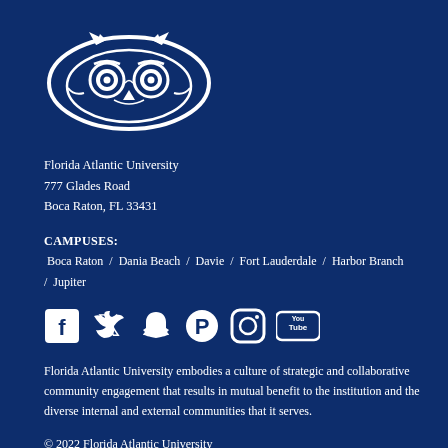[Figure (logo): Florida Atlantic University owl mascot logo in white on dark blue background]
Florida Atlantic University
777 Glades Road
Boca Raton, FL 33431
CAMPUSES:
Boca Raton / Dania Beach / Davie / Fort Lauderdale / Harbor Branch / Jupiter
[Figure (infographic): Social media icons: Facebook, Twitter, Snapchat, Pinterest, Instagram, YouTube]
Florida Atlantic University embodies a culture of strategic and collaborative community engagement that results in mutual benefit to the institution and the diverse internal and external communities that it serves.
© 2022 Florida Atlantic University